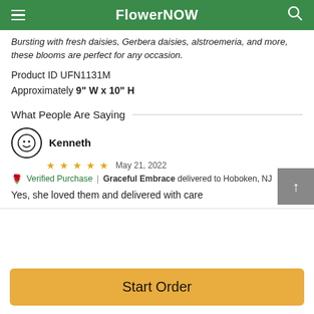FlowerNOW
Bursting with fresh daisies, Gerbera daisies, alstroemeria, and more, these blooms are perfect for any occasion.
Product ID UFN1131M
Approximately 9" W x 10" H
What People Are Saying
Kenneth
★ ★ ★ ★ ★  May 21, 2022
Verified Purchase | Graceful Embrace delivered to Hoboken, NJ
Yes, she loved them and delivered with care
Start Order